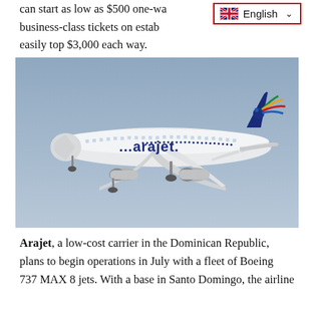can start as low as $500 one-way, while business-class tickets on established carriers can easily top $3,000 each way.
[Figure (photo): An Arajet Boeing 737 MAX 8 aircraft in flight against a gray-blue sky. The white aircraft displays the 'arajet' logo in dark blue on the fuselage and features a colorful bird logo on the tail.]
Arajet, a low-cost carrier in the Dominican Republic, plans to begin operations in July with a fleet of Boeing 737 MAX 8 jets. With a base in Santo Domingo, the airline